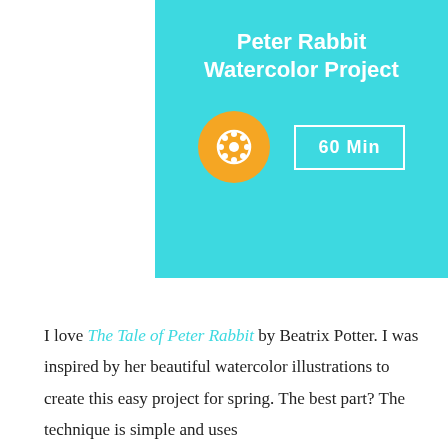[Figure (infographic): Teal/cyan banner with bold white text 'Peter Rabbit Watercolor Project', an orange film reel circle icon, and a white-bordered box reading '60 Min']
I love The Tale of Peter Rabbit by Beatrix Potter. I was inspired by her beautiful watercolor illustrations to create this easy project for spring. The best part? The technique is simple and uses